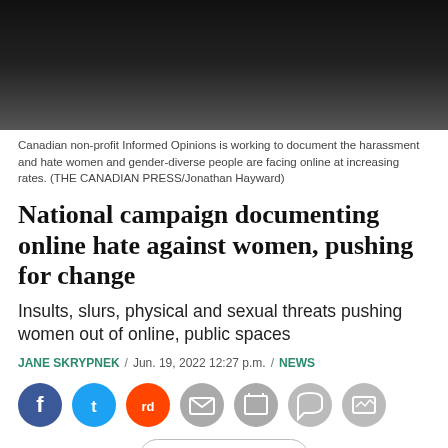[Figure (photo): Dark background photo, top portion of a news article image]
Canadian non-profit Informed Opinions is working to document the harassment and hate women and gender-diverse people are facing online at increasing rates. (THE CANADIAN PRESS/Jonathan Hayward)
National campaign documenting online hate against women, pushing for change
Insults, slurs, physical and sexual threats pushing women out of online, public spaces
JANE SKRYPNEK / Jun. 19, 2022 12:27 p.m. / NEWS
[Figure (infographic): Social media share icons: Facebook, Twitter, Reddit, Email, Print, Comment, Image]
Read More
[Figure (infographic): Advertisement banner for Summerland Seniors Village Open House, Sunday, September 11th, 2:00pm - 4:00pm]